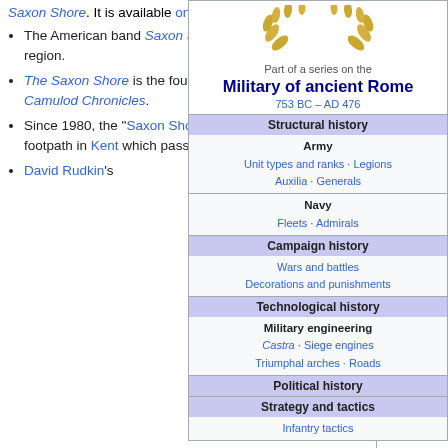Saxon Shore. It is available online.
The American band Saxon Shore takes its name from the region.
The Saxon Shore is the fourth book in Jack Whyte's Camulod Chronicles.
Since 1980, the "Saxon Shore Way" exists, a coastal footpath in Kent which passes by many of the forts.
David Rudkin's
[Figure (illustration): Decorative laurel wreath in gold/tan color at top of sidebar]
Part of a series on the
Military of ancient Rome
753 BC – AD 476
Structural history
Army
Unit types and ranks · Legions · Auxilia · Generals
Navy
Fleets · Admirals
Campaign history
Wars and battles · Decorations and punishments
Technological history
Military engineering
Castra · Siege engines · Triumphal arches · Roads
Political history
Strategy and tactics
Infantry tactics